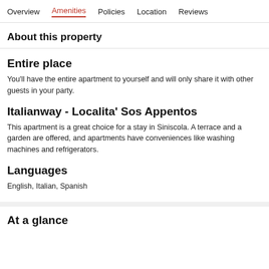Overview  Amenities  Policies  Location  Reviews
About this property
Entire place
You'll have the entire apartment to yourself and will only share it with other guests in your party.
Italianway - Localita' Sos Appentos
This apartment is a great choice for a stay in Siniscola. A terrace and a garden are offered, and apartments have conveniences like washing machines and refrigerators.
Languages
English, Italian, Spanish
At a glance